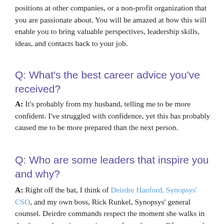positions at other companies, or a non-profit organization that you are passionate about. You will be amazed at how this will enable you to bring valuable perspectives, leadership skills, ideas, and contacts back to your job.
Q: What's the best career advice you've received?
A: It's probably from my husband, telling me to be more confident. I've struggled with confidence, yet this has probably caused me to be more prepared than the next person.
Q: Who are some leaders that inspire you and why?
A: Right off the bat, I think of Deirdre Hanford, Synopsys' CSO, and my own boss, Rick Runkel, Synopsys' general counsel. Deirdre commands respect the moment she walks in the door and continues to impress from then on. Of course, she is brave, confident, and always prepared, but I admire how she does not